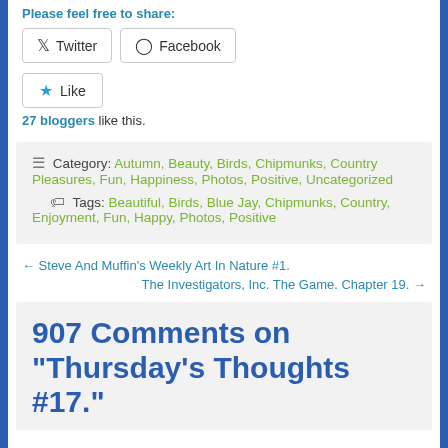Please feel free to share:
[Figure (other): Social share buttons: Twitter and Facebook]
[Figure (other): Like button with star icon]
27 bloggers like this.
Category: Autumn, Beauty, Birds, Chipmunks, Country Pleasures, Fun, Happiness, Photos, Positive, Uncategorized
Tags: Beautiful, Birds, Blue Jay, Chipmunks, Country, Enjoyment, Fun, Happy, Photos, Positive
← Steve And Muffin's Weekly Art In Nature #1.
The Investigators, Inc. The Game. Chapter 19. →
907 Comments on "Thursday's Thoughts #17."